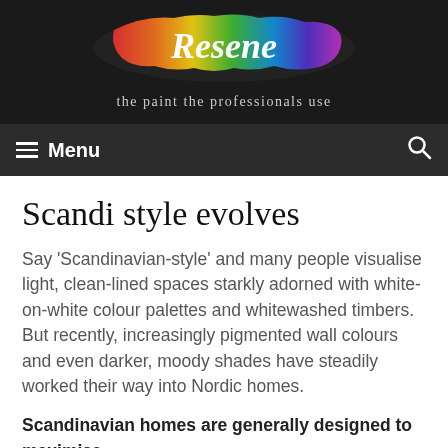[Figure (logo): Resene logo with rainbow paint splash and tagline 'the paint the professionals use' on dark background]
Menu
Scandi style evolves
Say ‘Scandinavian-style’ and many people visualise light, clean-lined spaces starkly adorned with white-on-white colour palettes and whitewashed timbers. But recently, increasingly pigmented wall colours and even darker, moody shades have steadily worked their way into Nordic homes.
Scandinavian homes are generally designed to maximise